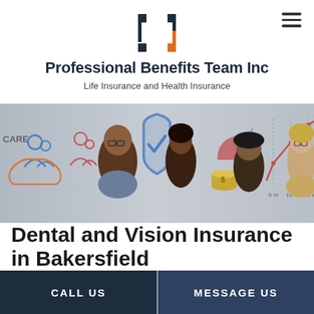[Figure (logo): Professional Benefits Team Inc logo: stylized bracket/bracket icon in navy and orange]
Professional Benefits Team Inc
Life Insurance and Health Insurance
[Figure (photo): Hero banner showing diverse group of people smiling, overlaid with insurance-related icons: shield with checkmark, umbrella, people icons, coins, and financial chart lines. Text 'CARE' visible on left side.]
Dental and Vision Insurance in Bakersfield
CALL US
MESSAGE US